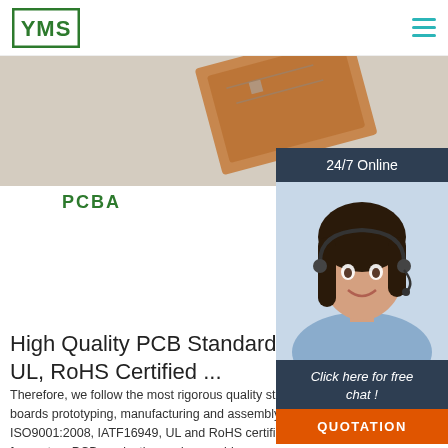YMS logo and navigation
[Figure (photo): PCB board photo partial view, copper/green board at top of page]
PCBA
[Figure (photo): Customer service representative wearing a headset, smiling, with 24/7 Online banner and Click here for free chat! text and QUOTATION button]
High Quality PCB Standards UL, RoHS Certified ...
Therefore, we follow the most rigorous quality standards throughout circuit boards prototyping, manufacturing and assembly. Currently, we're fully ISO9001:2008, IATF16949, UL and RoHS certificated. You can rely on us for custom PCB production and assembly.